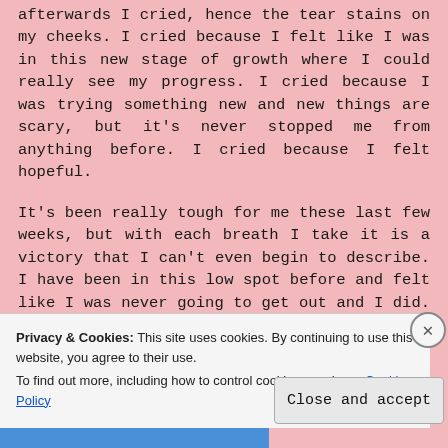afterwards I cried, hence the tear stains on my cheeks. I cried because I felt like I was in this new stage of growth where I could really see my progress. I cried because I was trying something new and new things are scary, but it's never stopped me from anything before. I cried because I felt hopeful.
It's been really tough for me these last few weeks, but with each breath I take it is a victory that I can't even begin to describe. I have been in this low spot before and felt like I was never going to get out and I did. So, I know that no matter how hard it feels I will
Privacy & Cookies: This site uses cookies. By continuing to use this website, you agree to their use.
To find out more, including how to control cookies, see here: Cookie Policy
Close and accept